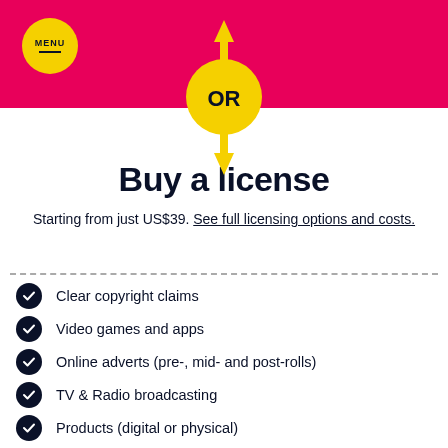[Figure (infographic): Yellow circle with arrows pointing up and down, labeled 'OR', on a pink/magenta header background with a yellow 'MENU' circle button on the left]
Buy a license
Starting from just US$39. See full licensing options and costs.
Clear copyright claims
Video games and apps
Online adverts (pre-, mid- and post-rolls)
TV & Radio broadcasting
Products (digital or physical)
Feature films